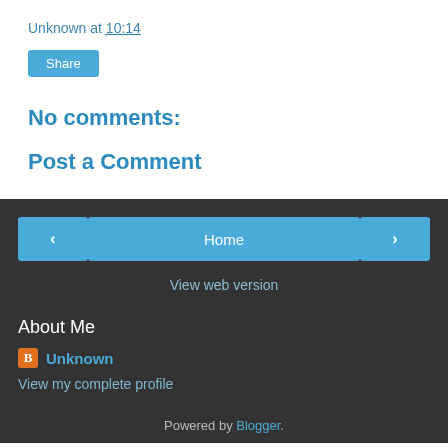Unknown at 10:14
Share
No comments:
Post a Comment
< Home >
View web version
About Me
Unknown
View my complete profile
Powered by Blogger.